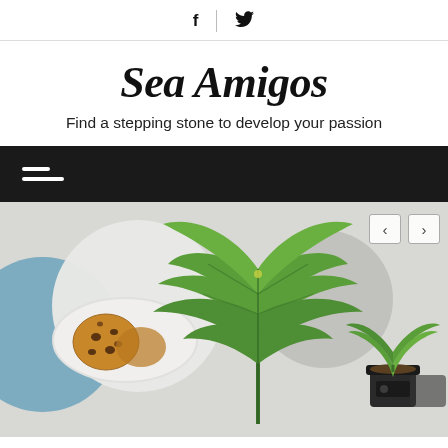f  |  (twitter bird icon)
Sea Amigos
Find a stepping stone to develop your passion
[Figure (screenshot): Dark navigation bar with hamburger menu (two horizontal white lines of unequal length)]
[Figure (photo): Hero image showing a cannabis leaf plant in the foreground, cookies on a plate with blue and white circular decorative backgrounds, and small potted plants on the right. Navigation left/right arrows visible in top right corner.]